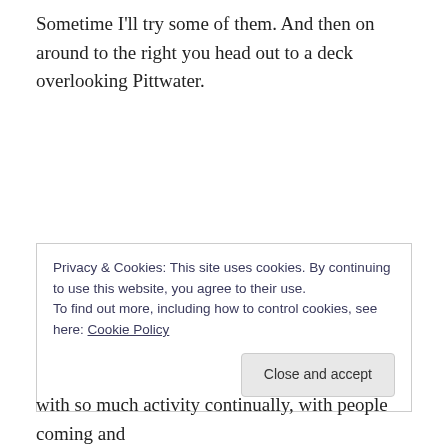Sometime I'll try some of them. And then on around to the right you head out to a deck overlooking Pittwater.
Privacy & Cookies: This site uses cookies. By continuing to use this website, you agree to their use.
To find out more, including how to control cookies, see here: Cookie Policy
Close and accept
with so much activity continually, with people coming and